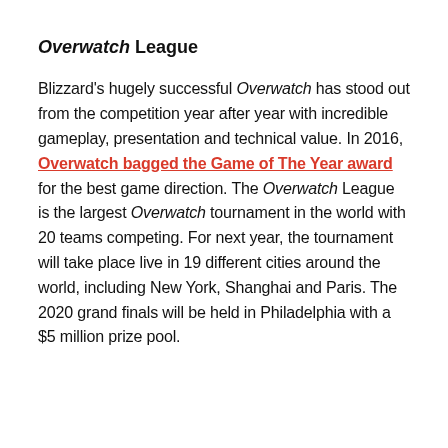Overwatch League
Blizzard's hugely successful Overwatch has stood out from the competition year after year with incredible gameplay, presentation and technical value. In 2016, Overwatch bagged the Game of The Year award for the best game direction. The Overwatch League is the largest Overwatch tournament in the world with 20 teams competing. For next year, the tournament will take place live in 19 different cities around the world, including New York, Shanghai and Paris. The 2020 grand finals will be held in Philadelphia with a $5 million prize pool.